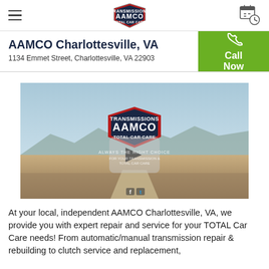AAMCO — navigation header with hamburger menu, AAMCO logo, and calendar icon
AAMCO Charlottesville, VA
1134 Emmet Street, Charlottesville, VA 22903
[Figure (screenshot): AAMCO video thumbnail showing desert road landscape with AAMCO Transmissions Total Car Care logo and play button overlay, with social media icons at bottom]
At your local, independent AAMCO Charlottesville, VA, we provide you with expert repair and service for your TOTAL Car Care needs! From automatic/manual transmission repair & rebuilding to clutch service and replacement,